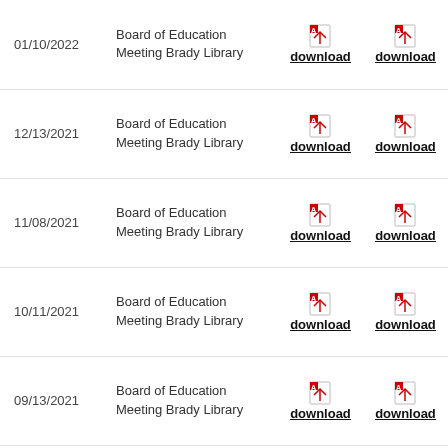| Date | Description | Download | Download |
| --- | --- | --- | --- |
| 01/10/2022 | Board of Education Meeting Brady Library | download | download |
| 12/13/2021 | Board of Education Meeting Brady Library | download | download |
| 11/08/2021 | Board of Education Meeting Brady Library | download | download |
| 10/11/2021 | Board of Education Meeting Brady Library | download | download |
| 09/13/2021 | Board of Education Meeting Brady Library | download | download |